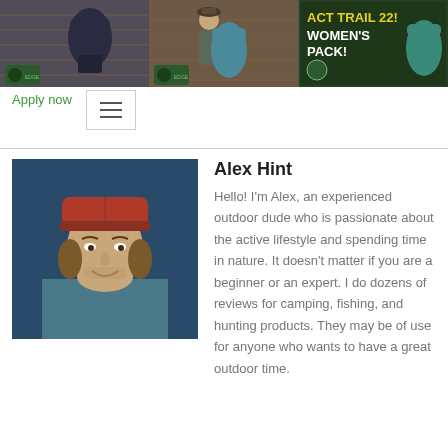[Figure (screenshot): Three thumbnail images of outdoor backpack reviews/videos side by side]
Apply now
[Figure (screenshot): Hamburger menu icon button]
[Figure (photo): Profile photo of Alex Hint wearing a red cap and blue shirt, blue background]
Alex Hint
Hello! I'm Alex, an experienced outdoor dude who is passionate about the active lifestyle and spending time in nature. It doesn't matter if you are a beginner or an expert. I do dozens of reviews for camping, fishing, and hunting products. They may be of use for anyone who wants to have a great outdoor time.